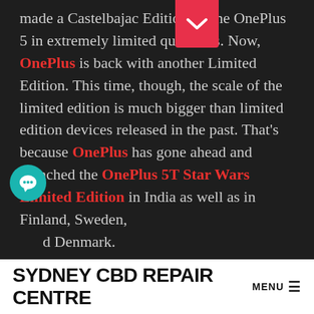made a Castelbajac Edition of the OnePlus 5 in extremely limited quantities. Now, OnePlus is back with another Limited Edition. This time, though, the scale of the limited edition is much bigger than limited edition devices released in the past. That's because OnePlus has gone ahead and launched the OnePlus 5T Star Wars Limited Edition in India as well as in Finland, Sweden, and Denmark.
The OnePlus 5T Star Wars Edition comes in special packaging with a relatively huge box. The box is primarily colored black with red accents. Inside, OnePlus has included a Star Wars case with the device. The case is a decent quality TPU case with a design that will be
SYDNEY CBD REPAIR CENTRE MENU